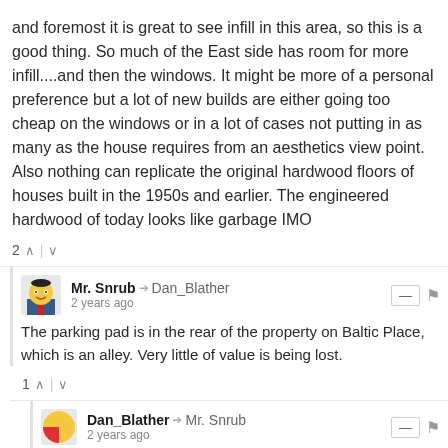and foremost it is great to see infill in this area, so this is a good thing. So much of the East side has room for more infill....and then the windows. It might be more of a personal preference but a lot of new builds are either going too cheap on the windows or in a lot of cases not putting in as many as the house requires from an aesthetics view point. Also nothing can replicate the original hardwood floors of houses built in the 1950s and earlier. The engineered hardwood of today looks like garbage IMO
2 ^ | v
Mr. Snrub → Dan_Blather
2 years ago
The parking pad is in the rear of the property on Baltic Place, which is an alley. Very little of value is being lost.
1 ^ | v
Dan_Blather → Mr. Snrub
2 years ago
I see an alley-load garage (which is a good thing), but what's with the concrete pad on the Division frontage?